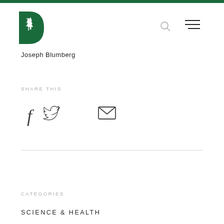[Figure (logo): Dartmouth College green D with pine tree logo]
Joseph Blumberg
SHARE THIS
[Figure (infographic): Social share icons: Facebook, Twitter, Email]
CATEGORIES
SCIENCE & HEALTH